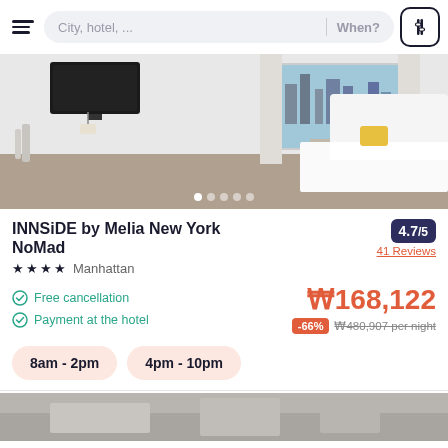City, hotel, ...  When?
[Figure (photo): Hotel room interior: white bed, desk, window with city view, TV mounted on wall, yellow accent pillow]
INNSiDE by Melia New York NoMad
4.7/5 — 41 Reviews
★★★★ Manhattan
Free cancellation
Payment at the hotel
₩168,122
-66%  ₩480,907 per night
8am - 2pm
4pm - 10pm
[Figure (photo): Bottom partial preview of another hotel image]